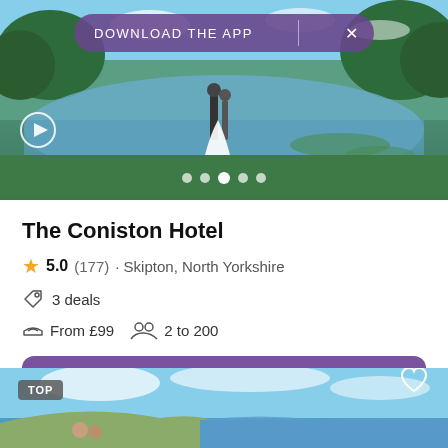[Figure (photo): Hotel exterior photo showing a lake and green landscape with a couple in wedding attire, with a 'Download the App' purple banner overlay and navigation dots]
The Coniston Hotel
5.0 (177) · Skipton, North Yorkshire
3 deals
From £99   2 to 200
More information
[Figure (photo): Coastal scenic photo with blue sky, cliffs and sea, with TOP badge and heart icon overlay, partially visible]